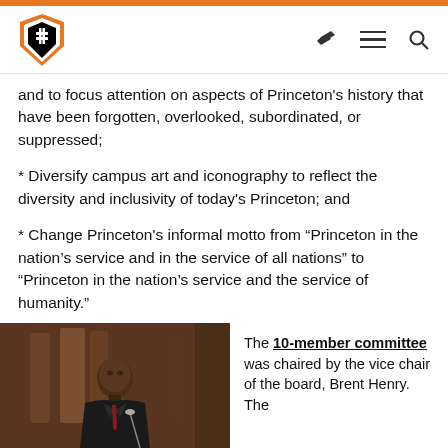Princeton University Logo / Navigation
and to focus attention on aspects of Princeton's history that have been forgotten, overlooked, subordinated, or suppressed;
* Diversify campus art and iconography to reflect the diversity and inclusivity of today's Princeton; and
* Change Princeton's informal motto from “Princeton in the nation’s service and in the service of all nations” to “Princeton in the nation’s service and the service of humanity.”
[Figure (photo): A man in a dark suit with a red tie standing at a podium in a formal hall setting.]
The 10-member committee was chaired by the vice chair of the board, Brent Henry. The